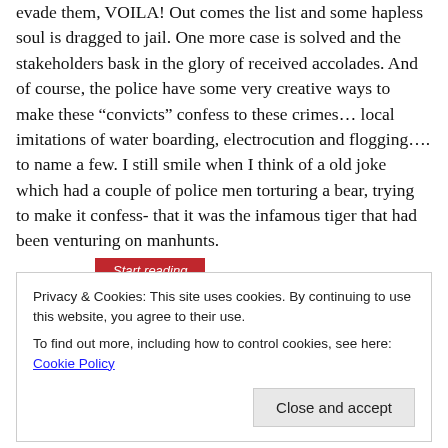evade them, VOILA! Out comes the list and some hapless soul is dragged to jail. One more case is solved and the stakeholders bask in the glory of received accolades. And of course, the police have some very creative ways to make these “convicts” confess to these crimes… local imitations of water boarding, electrocution and flogging…. to name a few. I still smile when I think of a old joke which had a couple of police men torturing a bear, trying to make it confess- that it was the infamous tiger that had been venturing on manhunts.
[Figure (other): Red 'Start reading' button]
Privacy & Cookies: This site uses cookies. By continuing to use this website, you agree to their use.
To find out more, including how to control cookies, see here: Cookie Policy
Close and accept